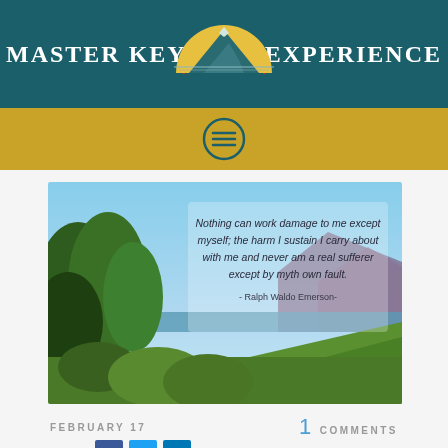Master Key Experience
[Figure (logo): Master Key Experience logo with mountain and sunrise arc]
[Figure (photo): Scenic Hawaiian landscape with tropical trees, ocean and mountains in background overlaid with a Ralph Waldo Emerson quote: 'Nothing can work damage to me except myself; the harm I sustain I carry about with me and never am a real sufferer except by myth own fault.' - Ralph Waldo Emerson-]
FEBRUARY 17
1 COMMENTS